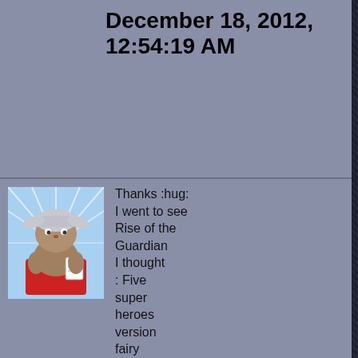December 18, 2012, 12:54:19 AM
[Figure (illustration): Cartoon avatar of a character dressed as Thor (Marvel superhero) — gray/brown furry creature wearing a red cape and silver helmet with wings, holding a paper, with action lines in the background. Animated/comic style.]
Thanks :hug: I went to see Rise of the Guardians I thought: Five super heroes version fairy tale! :) Yes, Pitch is a Drama queen as Loki. If you're